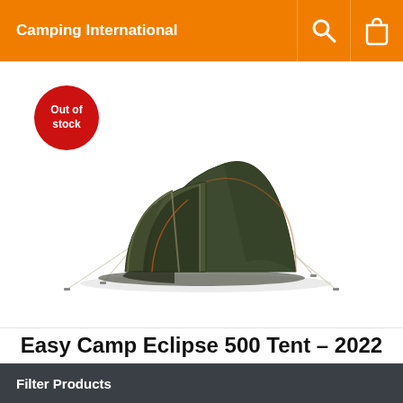Camping International
[Figure (photo): A dark green dome/tunnel camping tent (Easy Camp Eclipse 500) shown on a white background, with guy ropes extended and a porch area at the front. A red circular 'Out of stock' badge overlays the top-left of the image.]
Easy Camp Eclipse 500 Tent – 2022
Filter Products